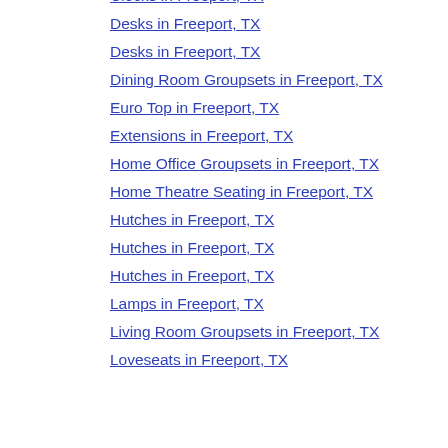Clocks in Freeport, TX
Desks in Freeport, TX
Desks in Freeport, TX
Dining Room Groupsets in Freeport, TX
Euro Top in Freeport, TX
Extensions in Freeport, TX
Home Office Groupsets in Freeport, TX
Home Theatre Seating in Freeport, TX
Hutches in Freeport, TX
Hutches in Freeport, TX
Hutches in Freeport, TX
Lamps in Freeport, TX
Living Room Groupsets in Freeport, TX
Loveseats in Freeport, TX